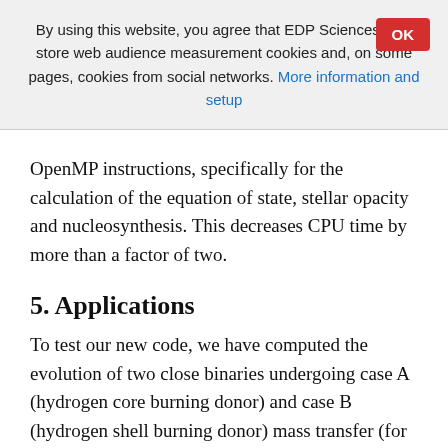By using this website, you agree that EDP Sciences may store web audience measurement cookies and, on some pages, cookies from social networks. More information and setup
OpenMP instructions, specifically for the calculation of the equation of state, stellar opacity and nucleosynthesis. This decreases CPU time by more than a factor of two.
5. Applications
To test our new code, we have computed the evolution of two close binaries undergoing case A (hydrogen core burning donor) and case B (hydrogen shell burning donor) mass transfer (for an exhaustive description of the various modes of mass transfer, see Eggleton 2006). Models were selected according to literature cases (and availability of the numerical data) for a comparative